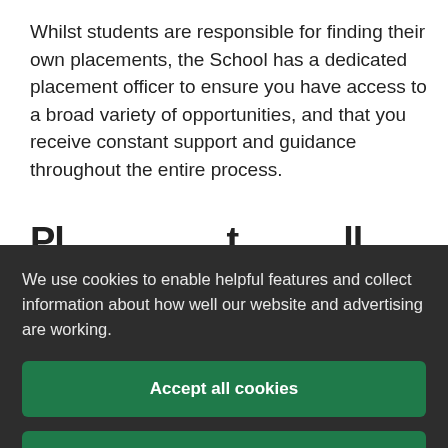Whilst students are responsible for finding their own placements, the School has a dedicated placement officer to ensure you have access to a broad variety of opportunities, and that you receive constant support and guidance throughout the entire process.
Pl...
We use cookies to enable helpful features and collect information about how well our website and advertising are working.
Accept all cookies
Manage your cookie preferences